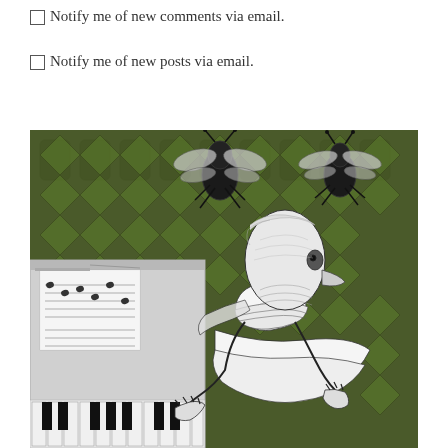Notify me of new comments via email.
Notify me of new posts via email.
[Figure (illustration): A surreal artistic illustration showing a bird-headed humanoid figure wearing a ruffled dress, playing a piano/keyboard instrument. The background features a dark green ornate wallpaper pattern. Large black insects (bees or flies) are depicted hanging from above. Sheet music is visible on the piano. The image is in black and white with the green wallpaper providing color contrast.]